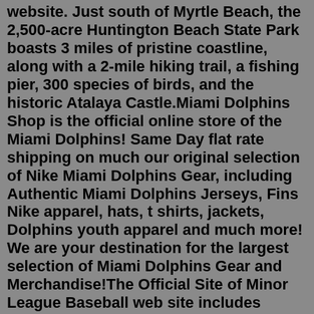website. Just south of Myrtle Beach, the 2,500-acre Huntington Beach State Park boasts 3 miles of pristine coastline, along with a 2-mile hiking trail, a fishing pier, 300 species of birds, and the historic Atalaya Castle.Miami Dolphins Shop is the official online store of the Miami Dolphins! Same Day flat rate shipping on much our original selection of Nike Miami Dolphins Gear, including Authentic Miami Dolphins Jerseys, Fins Nike apparel, hats, t shirts, jackets, Dolphins youth apparel and much more! We are your destination for the largest selection of Miami Dolphins Gear and Merchandise!The Official Site of Minor League Baseball web site includes features, news, rosters, statistics, schedules, teams, live game radio broadcasts, and video clips.8 reviews of Long Island Batting Cage "Nice spot to hit some balls. Never too crowded that you cant hit. Great atmosphere as well, a real-homey feel for a local athlete. The owner also gave me a discount on a carolina clubs bat when i broke mine in the cage. The typa guy that would split his last twix bar so that you